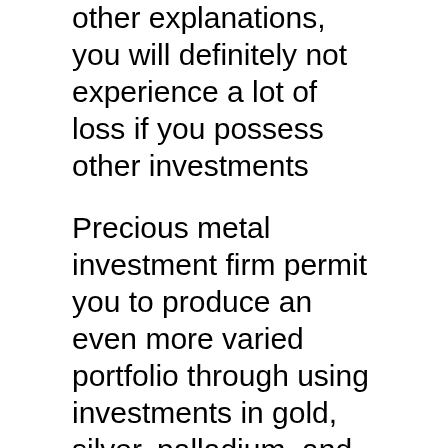other explanations, you will definitely not experience a lot of loss if you possess other investments
Precious metal investment firm permit you to produce an even more varied portfolio through using investments in gold, silver, palladium, and also platinum bars and coins. You can easily even purchase their cryptocurrency offers. These business give a superb possibility to obtain a few true clubs and pieces for safe-keeping at your property, acquire a large investment to become saved in a vault, or even put together a gold IRA.
There are numerous gold investment firm readily available today. Although competition is excellent, it can easily develop an obstacle